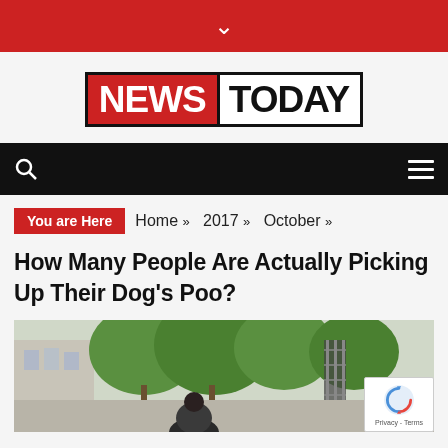▾
[Figure (logo): NEWS TODAY logo with red background for NEWS and white background for TODAY, bordered box]
[Figure (screenshot): Black navigation bar with search icon (magnifying glass) on left and hamburger menu icon on right]
You are Here  Home » 2017 » October »
How Many People Are Actually Picking Up Their Dog's Poo?
[Figure (photo): Photo of a person walking a dog on an outdoor street with trees and buildings in background]